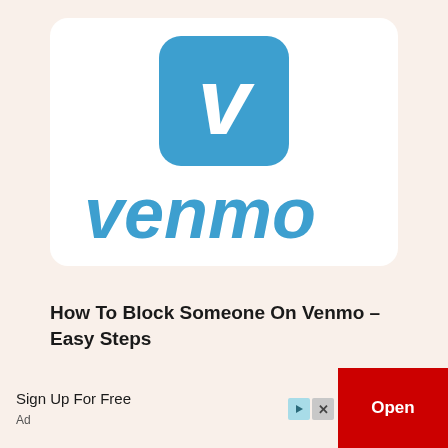[Figure (logo): Venmo logo: blue rounded-square icon with white 'v' mark, and blue italic 'venmo' wordmark below, on white card background]
How To Block Someone On Venmo – Easy Steps
Venmo is an easy method to pay instantly to your family, friends, and merchants who are participating. It also comes with an element of social media that makes it more than another
Sign Up For Free
Ad
Open